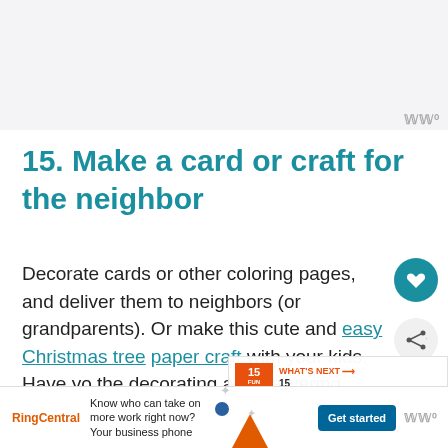[Figure (photo): Light gray image placeholder area at top of page]
15. Make a card or craft for the neighbor
Decorate cards or other coloring pages, and deliver them to neighbors (or grandparents). Or make this cute and easy Christmas tree paper craft with your kids. Have you the decorating and delivering.
[Figure (infographic): What's Next panel showing '15 Thanksgivin...' with orange thumbnail]
[Figure (infographic): RingCentral advertisement bar at bottom: Know who can take on more work right now? Your business phone. Get started button.]